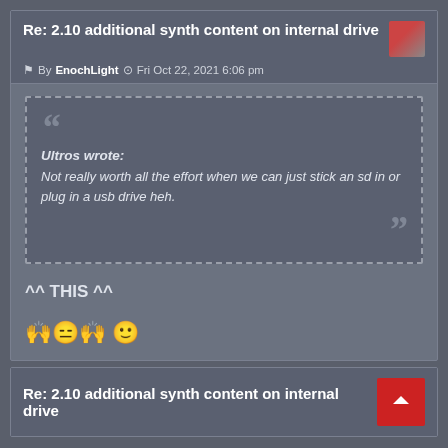Re: 2.10 additional synth content on internal drive
By EnochLight  Fri Oct 22, 2021 6:06 pm
Ultros wrote:
Not really worth all the effort when we can just stick an sd in or plug in a usb drive heh.
^^ THIS ^^
🙌😑🙌 😊
Re: 2.10 additional synth content on internal drive